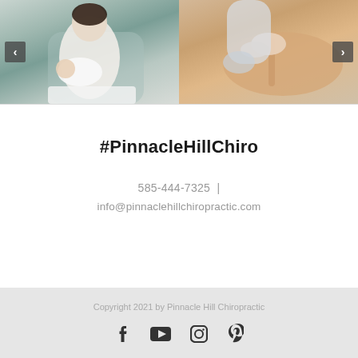[Figure (photo): Person nursing/holding a baby in a chair with white linens visible]
[Figure (photo): Chiropractic adjustment being performed on a patient, hands on back/neck area]
#PinnacleHillChiro
585-444-7325  |  info@pinnaclehillchiropractic.com
Copyright 2021 by Pinnacle Hill Chiropractic